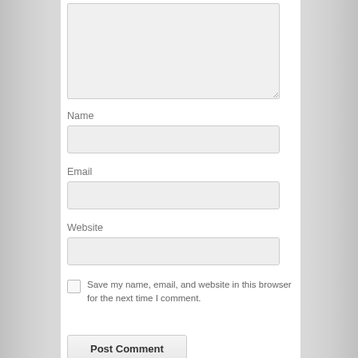[Figure (screenshot): A web form comment section with a textarea at the top, followed by Name, Email, and Website text input fields, a checkbox with label 'Save my name, email, and website in this browser for the next time I comment.', and a 'Post Comment' button.]
Name
Email
Website
Save my name, email, and website in this browser for the next time I comment.
Post Comment